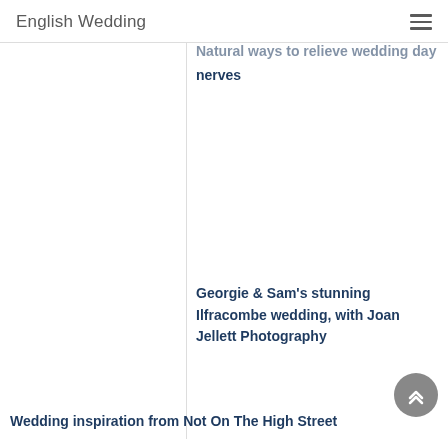English Wedding
Natural ways to relieve wedding day nerves
Georgie & Sam's stunning Ilfracombe wedding, with Joan Jellett Photography
Wedding inspiration from Not On The High Street